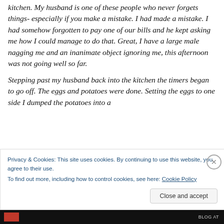kitchen. My husband is one of these people who never forgets things- especially if you make a mistake. I had made a mistake. I had somehow forgotten to pay one of our bills and he kept asking me how I could manage to do that. Great, I have a large male nagging me and an inanimate object ignoring me, this afternoon was not going well so far.

Stepping past my husband back into the kitchen the timers began to go off. The eggs and potatoes were done. Setting the eggs to one side I dumped the potatoes into a
Privacy & Cookies: This site uses cookies. By continuing to use this website, you agree to their use.
To find out more, including how to control cookies, see here: Cookie Policy